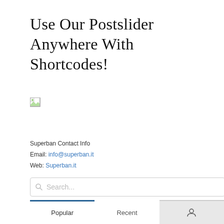Use Our Postslider Anywhere With Shortcodes!
[Figure (other): Broken image placeholder icon]
Superban Contact Info
Email: info@superban.it
Web: Superban.it
Search...
Popular | Recent | (icon)